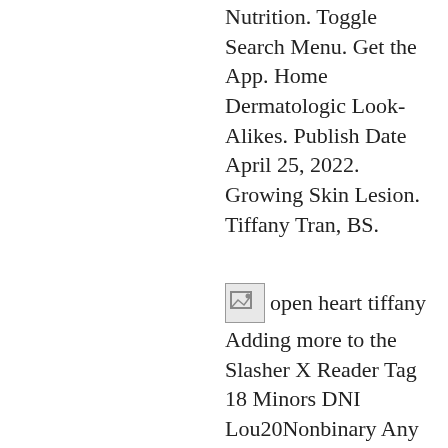Nutrition. Toggle Search Menu. Get the App. Home Dermatologic Look-Alikes. Publish Date April 25, 2022. Growing Skin Lesion. Tiffany Tran, BS.
open heart tiffany Adding more to the Slasher X Reader Tag 18 Minors DNI Lou20Nonbinary Any Pronouns Main Blog-@hannibal-shits-people Full fic Alphabet Requests OPEN Scenarios/HCs OPEN. slasher smut slasher headcanons slasher x reader Tommy knew from the moment he met you, you were something else. slashers slashers x reader slashers headcanons brahms heelshire micheal myers jason vorhees tiffany